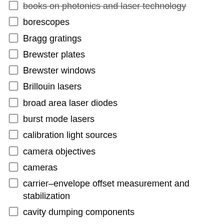books on photonics and laser technology
borescopes
Bragg gratings
Brewster plates
Brewster windows
Brillouin lasers
broad area laser diodes
burst mode lasers
calibration light sources
camera objectives
cameras
carrier–envelope offset measurement and stabilization
cavity dumping components